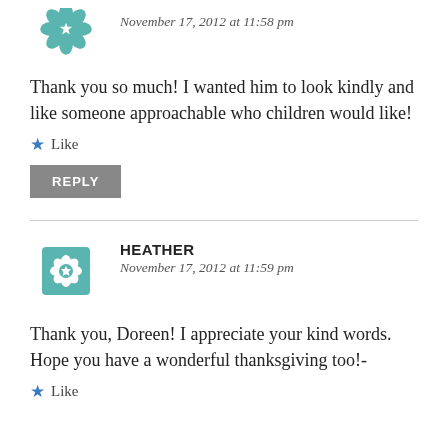[Figure (illustration): Teal geometric/floral avatar icon at top left, partially cropped]
November 17, 2012 at 11:58 pm
Thank you so much! I wanted him to look kindly and like someone approachable who children would like!
★ Like
REPLY
[Figure (illustration): Teal geometric/floral avatar icon for Heather]
HEATHER
November 17, 2012 at 11:59 pm
Thank you, Doreen! I appreciate your kind words. Hope you have a wonderful thanksgiving too!-
★ Like